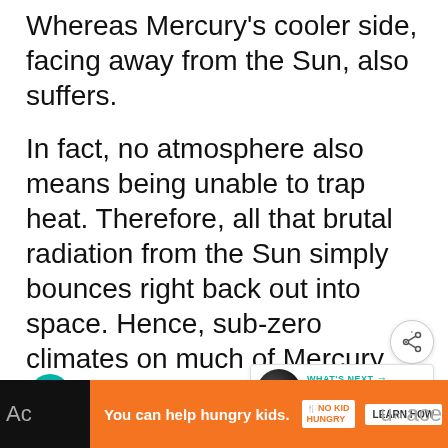Whereas Mercury's cooler side, facing away from the Sun, also suffers.
In fact, no atmosphere also means being unable to trap heat. Therefore, all that brutal radiation from the Sun simply bounces right back out into space. Hence, sub-zero climates on much of Mercury.
Finally, Mercury's paper-thin atmosphere also means no attack prevention
[Figure (screenshot): UI overlay elements: teal heart button, share button, 'What's Next' panel with planet image showing '10 Fascinating Facts About...' label]
[Figure (infographic): Orange advertisement bar at bottom: 'You can help hungry kids.' No Kid Hungry logo, Learn How button, partial text 'Ac... u...ace' visible on black background edges]